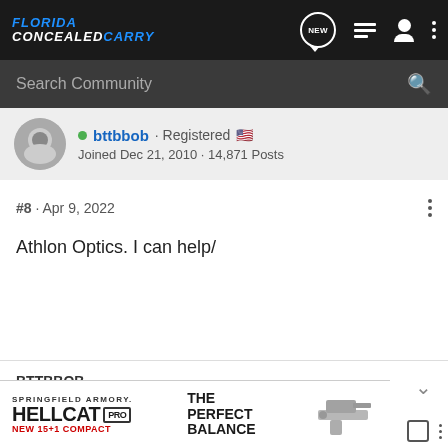FLORIDA CONCEALEDCARRY - New Posts, Menu, User, More
Search Community
bttbbob · Registered
Joined Dec 21, 2010 · 14,871 Posts
#8 · Apr 9, 2022
Athlon Optics. I can help/
BTTBBOB
President & Chief Instructor
BeerHunter and Shark1007